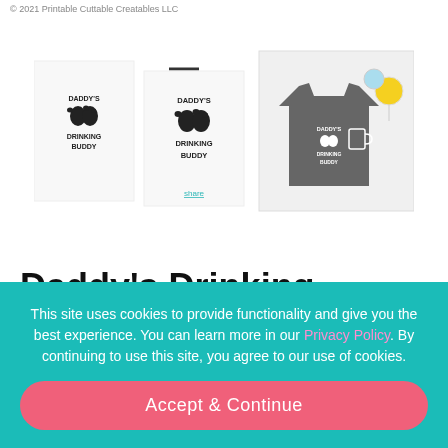© 2021 Printable Cuttable Creatables LLC
[Figure (illustration): Product images showing Daddy's Drinking Buddy SVG designs: black and white logo versions and a gray t-shirt mockup with the design applied]
Daddy's Drinking Buddy SVG Freebie
$0.00
This site uses cookies to provide functionality and give you the best experience. You can learn more in our Privacy Policy. By continuing to use this site, you agree to our use of cookies.
Accept & Continue